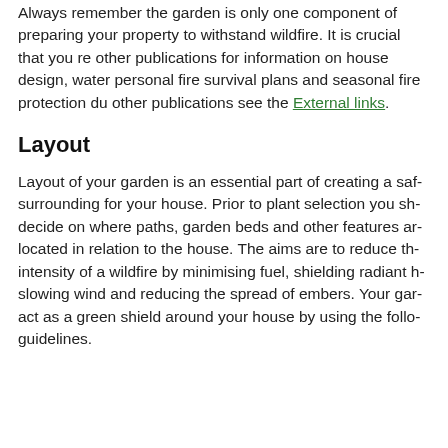Always remember the garden is only one component of preparing your property to withstand wildfire. It is crucial that you refer to other publications for information on house design, water supply, personal fire survival plans and seasonal fire protection duties. For other publications see the External links.
Layout
Layout of your garden is an essential part of creating a safe surrounding for your house. Prior to plant selection you should decide on where paths, garden beds and other features are located in relation to the house. The aims are to reduce the intensity of a wildfire by minimising fuel, shielding radiant heat, slowing wind and reducing the spread of embers. Your garden can act as a green shield around your house by using the following guidelines.